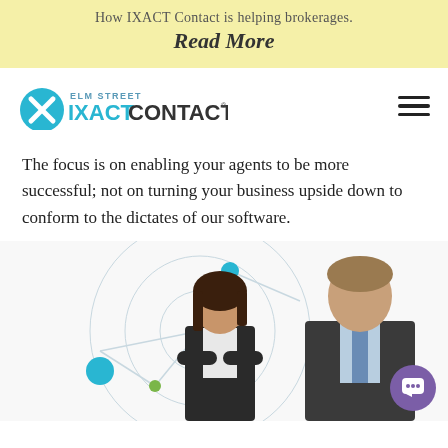How IXACT Contact is helping brokerages.
Read More
[Figure (logo): Elm Street IXACT CONTACT logo with cyan X circle icon]
The focus is on enabling your agents to be more successful; not on turning your business upside down to conform to the dictates of our software.
[Figure (photo): Two business professionals (woman and man in suits) with a network diagram graphic in the background. A purple chat button in the bottom right corner.]